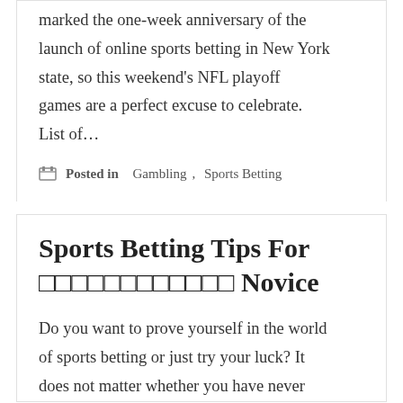marked the one-week anniversary of the launch of online sports betting in New York state, so this weekend's NFL playoff games are a perfect excuse to celebrate. List of...
Posted in Gambling, Sports Betting
Sports Betting Tips For ???????????? Novice
Do you want to prove yourself in the world of sports betting or just try your luck? It does not matter whether you have never...